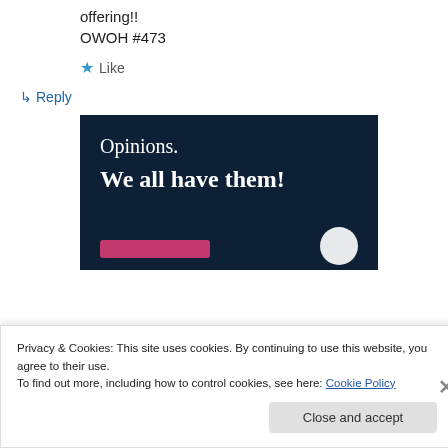offering!!
OWOH #473
★ Like
↳ Reply
[Figure (illustration): Dark navy blue advertisement banner with white serif text reading 'Opinions.' and bold 'We all have them!' with a pink button and white circle at bottom.]
Privacy & Cookies: This site uses cookies. By continuing to use this website, you agree to their use.
To find out more, including how to control cookies, see here: Cookie Policy
Close and accept